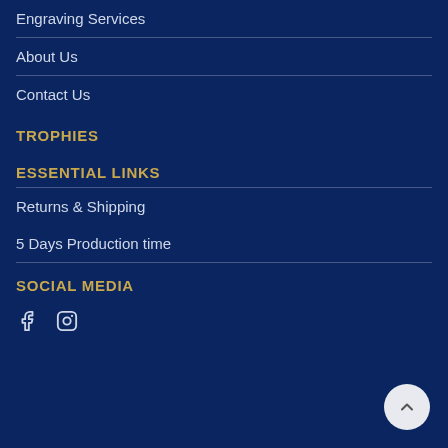Engraving Services
About Us
Contact Us
TROPHIES
ESSENTIAL LINKS
Returns & Shipping
5 Days Production time
SOCIAL MEDIA
[Figure (other): Social media icons: Facebook and Instagram]